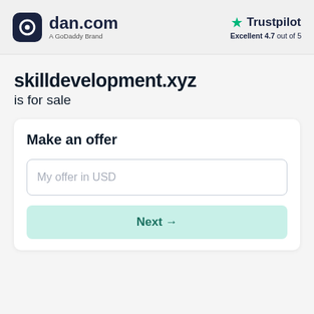dan.com — A GoDaddy Brand | Trustpilot Excellent 4.7 out of 5
skilldevelopment.xyz is for sale
Make an offer
My offer in USD
Next →